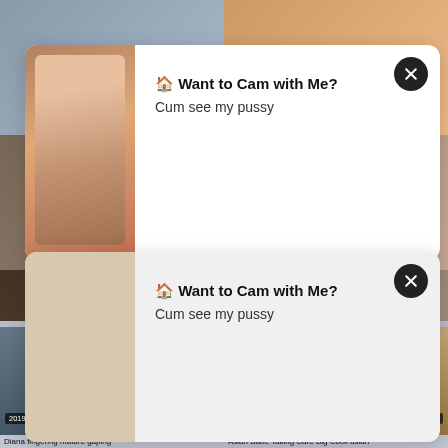[Figure (screenshot): Screenshot of a website with two popup notification overlays showing adult cam advertisement, and video thumbnail grid below with dates and durations]
🏠 Want to Cam with Me?
Cum see my pussy
🏠 Want to Cam with Me?
Cum see my pussy
Diana fingering mature gaping
Asian Babe Taking Care Big Cock asian